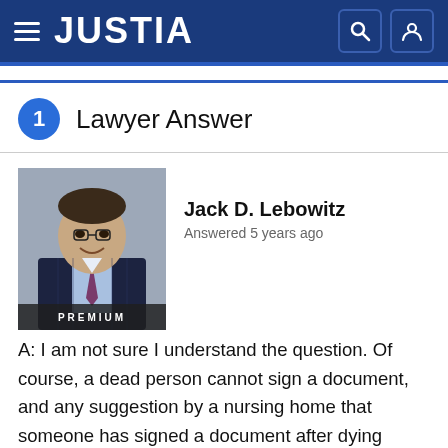JUSTIA
1 Lawyer Answer
[Figure (photo): Professional headshot of Jack D. Lebowitz, a lawyer, wearing a dark pinstripe suit and tie. A 'PREMIUM' badge appears at the bottom of the photo.]
Jack D. Lebowitz
Answered 5 years ago
A: I am not sure I understand the question. Of course, a dead person cannot sign a document, and any suggestion by a nursing home that someone has signed a document after dying raises issues, such as the potential of fraud. More generally, the enforceability of